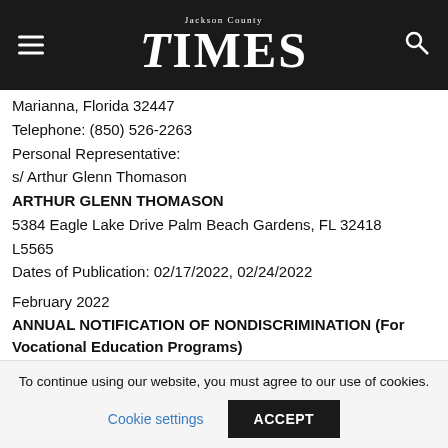Jackson County Times
Marianna, Florida 32447
Telephone: (850) 526-2263
Personal Representative:
s/ Arthur Glenn Thomason
ARTHUR GLENN THOMASON
5384 Eagle Lake Drive Palm Beach Gardens, FL 32418
L5565
Dates of Publication: 02/17/2022, 02/24/2022
February 2022
ANNUAL NOTIFICATION OF NONDISCRIMINATION (For Vocational Education Programs)
To continue using our website, you must agree to our use of cookies.